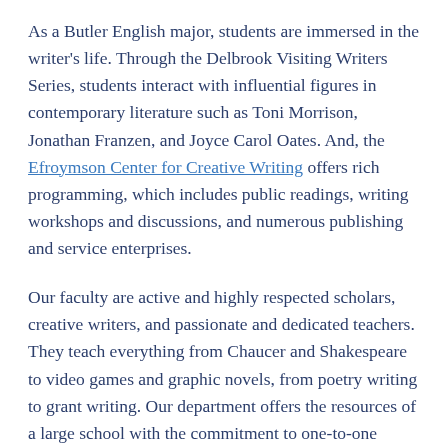As a Butler English major, students are immersed in the writer's life. Through the Delbrook Visiting Writers Series, students interact with influential figures in contemporary literature such as Toni Morrison, Jonathan Franzen, and Joyce Carol Oates. And, the Efroymson Center for Creative Writing offers rich programming, which includes public readings, writing workshops and discussions, and numerous publishing and service enterprises.
Our faculty are active and highly respected scholars, creative writers, and passionate and dedicated teachers. They teach everything from Chaucer and Shakespeare to video games and graphic novels, from poetry writing to grant writing. Our department offers the resources of a large school with the commitment to one-to-one contact and small classes characteristic of a smaller University.